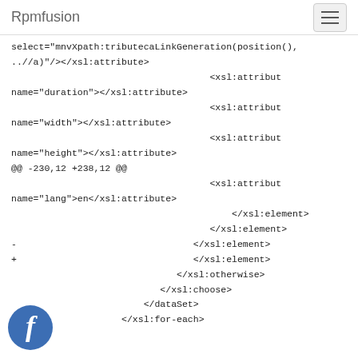Rpmfusion
select="mnvXpath:tributecaLinkGeneration(position(),
..//a)"/></xsl:attribute>
                                    <xsl:attribut
name="duration"></xsl:attribute>
                                    <xsl:attribut
name="width"></xsl:attribute>
                                    <xsl:attribut
name="height"></xsl:attribute>
@@ -230,12 +238,12 @@
                                    <xsl:attribut
name="lang">en</xsl:attribute>
                                        </xsl:element>
                                    </xsl:element>
-                                </xsl:element>
+                                </xsl:element>
                              </xsl:otherwise>
                           </xsl:choose>
                        </dataSet>
                    </xsl:for-each>